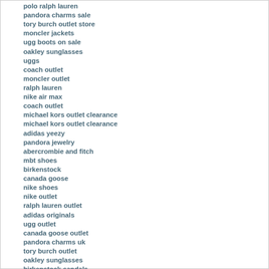polo ralph lauren
pandora charms sale
tory burch outlet store
moncler jackets
ugg boots on sale
oakley sunglasses
uggs
coach outlet
moncler outlet
ralph lauren
nike air max
coach outlet
michael kors outlet clearance
michael kors outlet clearance
adidas yeezy
pandora jewelry
abercrombie and fitch
mbt shoes
birkenstock
canada goose
nike shoes
nike outlet
ralph lauren outlet
adidas originals
ugg outlet
canada goose outlet
pandora charms uk
tory burch outlet
oakley sunglasses
birkenstock sandals
canada goose uk
coach factory outlet
tory burch outlet
coach factory outlet
oakley sunglasses
ralph lauren sale clearance
supreme clothing